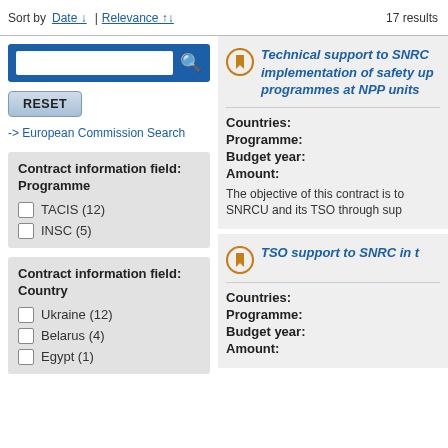Sort by Date | Relevance ↑↓  17 results
[Figure (screenshot): Search box with blue background and magnifying glass icon]
RESET
-> European Commission Search
Contract information field: Programme
TACIS (12)
INSC (5)
Contract information field: Country
Ukraine (12)
Belarus (4)
Egypt (1)
Technical support to SNRC implementation of safety up programmes at NPP units
Countries:
Programme:
Budget year:
Amount:
The objective of this contract is to SNRCU and its TSO through sup
TSO support to SNRC in t
Countries:
Programme:
Budget year:
Amount: